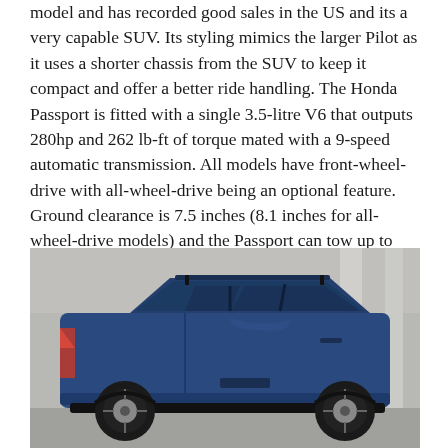model and has recorded good sales in the US and its a very capable SUV. Its styling mimics the larger Pilot as it uses a shorter chassis from the SUV to keep it compact and offer a better ride handling. The Honda Passport is fitted with a single 3.5-litre V6 that outputs 280hp and 262 lb-ft of torque mated with a 9-speed automatic transmission. All models have front-wheel-drive with all-wheel-drive being an optional feature.  Ground clearance is 7.5 inches (8.1 inches for all-wheel-drive models) and the Passport can tow up to 5000 pounds.
[Figure (photo): A blue Honda Passport SUV photographed from the rear three-quarter angle in a parking structure, showing the rear and side profile of the vehicle.]